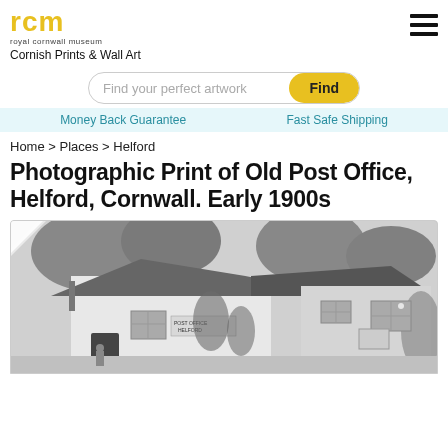rcm royal cornwall museum
Cornish Prints & Wall Art
[Figure (screenshot): Search bar with placeholder 'Find your perfect artwork' and yellow 'Find' button]
Money Back Guarantee   Fast Safe Shipping
Home > Places > Helford
Photographic Print of Old Post Office, Helford, Cornwall. Early 1900s
[Figure (photo): Black and white historical photograph of the Old Post Office in Helford, Cornwall, early 1900s. Shows a whitewashed building with a thatched/slate roof, climbing plants on the walls, trees in the background, with a 'Post Office Helford' sign visible on the building.]